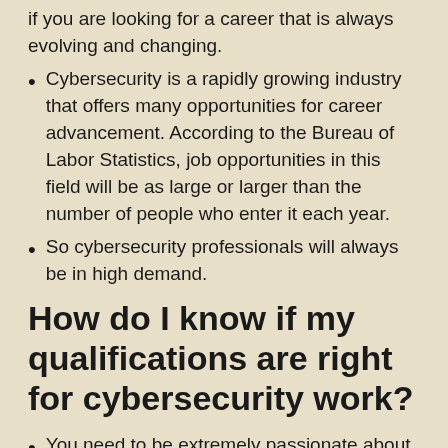if you are looking for a career that is always evolving and changing.
Cybersecurity is a rapidly growing industry that offers many opportunities for career advancement. According to the Bureau of Labor Statistics, job opportunities in this field will be as large or larger than the number of people who enter it each year.
So cybersecurity professionals will always be in high demand.
How do I know if my qualifications are right for cybersecurity work?
You need to be extremely passionate about technology and in particular, cybersecurity.
If you don't have this passion, you will not be able to work remotely while focusing on the job.
It is important to be able to solve problems, be curious about how things work, and pay attention.